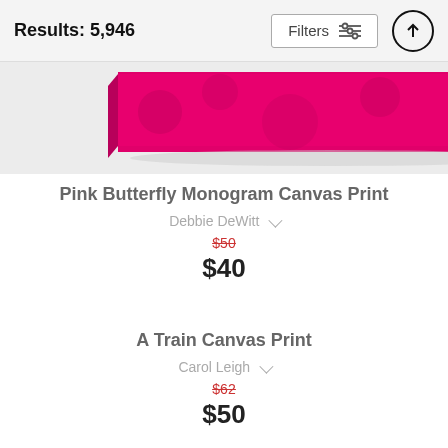Results: 5,946  Filters
[Figure (photo): Pink canvas print product image showing a pink butterfly monogram canvas with Fine Art America branding, viewed at an angle showing the side of the canvas.]
Pink Butterfly Monogram Canvas Print
Debbie DeWitt
$50  $40
A Train Canvas Print
Carol Leigh
$62  $50